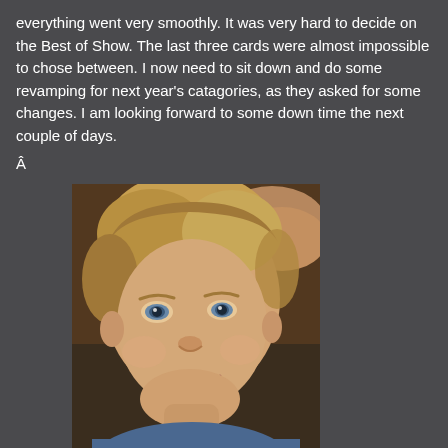everything went very smoothly. It was very hard to decide on the Best of Show. The last three cards were almost impossible to chose between. I now need to sit down and do some revamping for next year's catagories, as they asked for some changes. I am looking forward to some down time the next couple of days.
Â
[Figure (photo): Close-up portrait of a young blonde boy with blue eyes, smiling slightly, wearing a blue shirt, with someone's arm visible behind his head]